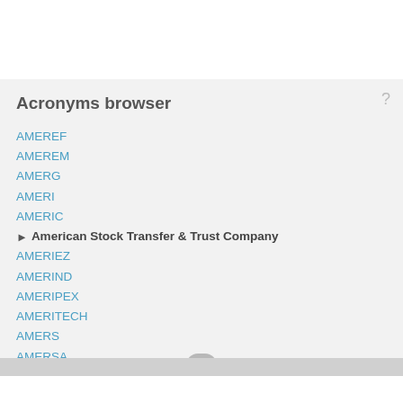Acronyms browser
AMEREF
AMEREM
AMERG
AMERI
AMERIC
▶ American Stock Transfer & Trust Company
AMERIEZ
AMERIND
AMERIPEX
AMERITECH
AMERS
AMERSA